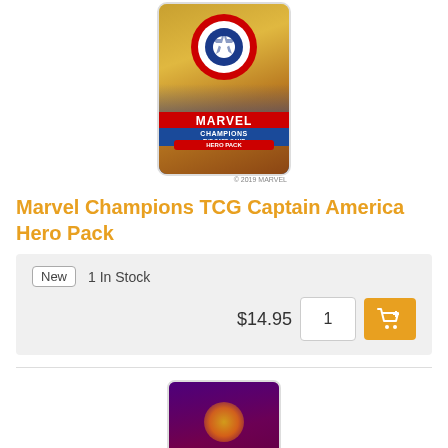[Figure (illustration): Marvel Champions TCG Captain America Hero Pack card image — Captain America holding shield, Marvel Champions Hero Pack branding in red and blue]
Marvel Champions TCG Captain America Hero Pack
New   1 In Stock
$14.95   1   [Add to cart button]
[Figure (illustration): Marvel Champions TCG Doctor Strange Hero Pack card image — purple and dark background, Marvel Champions Heroes branding]
[Figure (other): Back to top circular gold button with upward arrow]